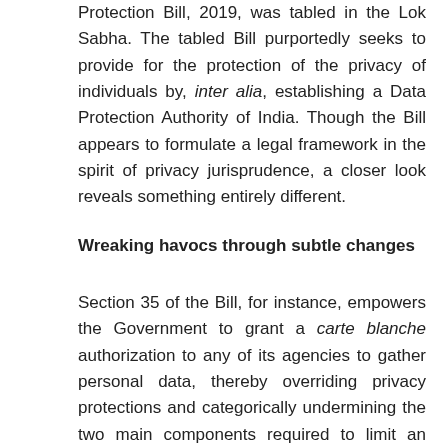Protection Bill, 2019, was tabled in the Lok Sabha. The tabled Bill purportedly seeks to provide for the protection of the privacy of individuals by, inter alia, establishing a Data Protection Authority of India. Though the Bill appears to formulate a legal framework in the spirit of privacy jurisprudence, a closer look reveals something entirely different.
Wreaking havocs through subtle changes
Section 35 of the Bill, for instance, empowers the Government to grant a carte blanche authorization to any of its agencies to gather personal data, thereby overriding privacy protections and categorically undermining the two main components required to limit an aspiring surveillance state: accountability and transparency. Privacy protections, the Bill states, can be overridden